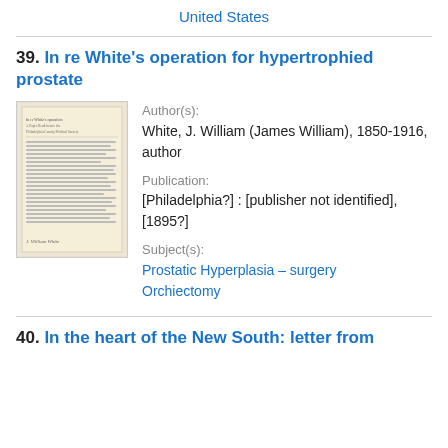United States
39. In re White's operation for hypertrophied prostate
[Figure (photo): Thumbnail image of a historical document page, yellowed paper with typewritten text]
Author(s): White, J. William (James William), 1850-1916, author
Publication: [Philadelphia?] : [publisher not identified], [1895?]
Subject(s): Prostatic Hyperplasia – surgery, Orchiectomy
40. In the heart of the New South: letter from